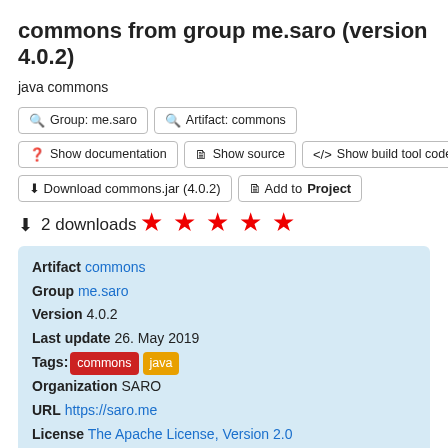commons from group me.saro (version 4.0.2)
java commons
🔍 Group: me.saro   🔍 Artifact: commons
❓ Show documentation   🗎 Show source   </> Show build tool code
⬇ Download commons.jar (4.0.2)   🗎 Add to Project
⬇ 2 downloads
★ ★ ★ ★ ★
Artifact commons
Group me.saro
Version 4.0.2
Last update 26. May 2019
Tags: commons java
Organization SARO
URL https://saro.me
License The Apache License, Version 2.0
Dependencies amount 9
Dependencies poi, poi-ooxml, jsch, commons-net, jna, jna-platform, jackson-core, jackson-annotations, jackson-